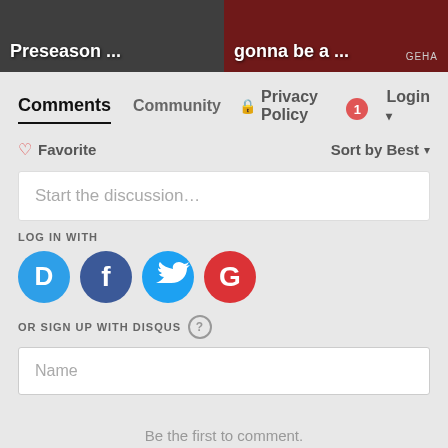[Figure (photo): Two thumbnail images side by side: left shows sports/preseason image with text 'Preseason ...', right shows sports image with text 'gonna be a ...' and GEHA badge]
Comments  Community  🔒 Privacy Policy  1  Login ▾
♡ Favorite   Sort by Best ▾
Start the discussion...
LOG IN WITH
[Figure (logo): Social login icons: Disqus (blue D), Facebook (dark blue f), Twitter (light blue bird), Google (red G)]
OR SIGN UP WITH DISQUS ?
Name
Be the first to comment.